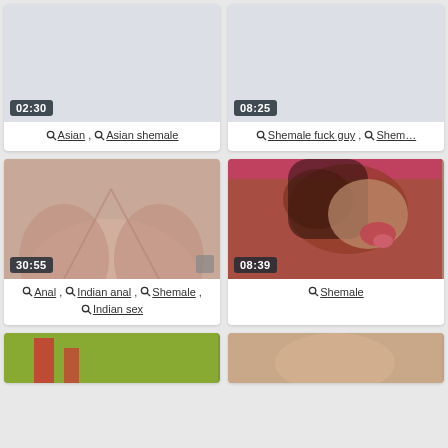[Figure (screenshot): Video thumbnail grid - top left card with gray placeholder, duration 02:30, tags: Asian, Asian shemale]
02:30
Asian , Asian shemale
[Figure (screenshot): Video thumbnail grid - top right card with gray placeholder, duration 08:25, tags: Shemale fuck guy, Sheme...]
08:25
Shemale fuck guy , Shem...
[Figure (photo): Close-up video thumbnail showing skin/body, duration 30:55, tags: Anal, Indian anal, Shemale, Indian sex]
30:55
Anal , Indian anal , Shemale , Indian sex
[Figure (photo): Video thumbnail showing woman, duration 08:39, tag: Shemale]
08:39
Shemale
[Figure (screenshot): Bottom left video thumbnail partial, green background visible]
[Figure (screenshot): Bottom right video thumbnail partial]